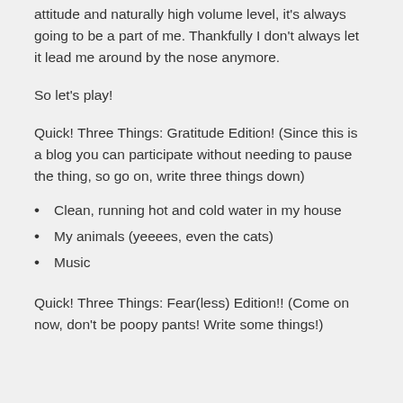attitude and naturally high volume level, it's always going to be a part of me. Thankfully I don't always let it lead me around by the nose anymore.
So let's play!
Quick! Three Things: Gratitude Edition! (Since this is a blog you can participate without needing to pause the thing, so go on, write three things down)
Clean, running hot and cold water in my house
My animals (yeeees, even the cats)
Music
Quick! Three Things: Fear(less) Edition!! (Come on now, don't be poopy pants! Write some things!)